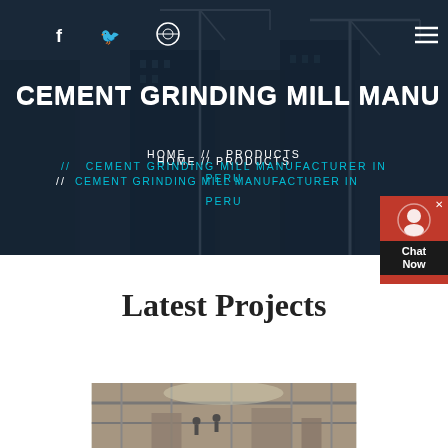[Figure (screenshot): Website screenshot showing hero header with dark blue construction site background with cranes and buildings. Navigation bar at top with social icons (f, Twitter bird, Dribbble). Menu hamburger icon on right. Large white bold text reads 'CEMENT GRINDING MILL MANU...' (truncated). Breadcrumb navigation showing HOME // PRODUCTS // CEMENT GRINDING MILL MANUFACTURER IN PERU in cyan. Red chat widget on right side. Below hero: white background with 'Latest Projects' heading. Partial industrial facility image at bottom.]
CEMENT GRINDING MILL MANU
HOME  //  PRODUCTS  //  CEMENT GRINDING MILL MANUFACTURER IN PERU
Latest Projects
[Figure (photo): Partial photo of industrial cement grinding facility interior showing structural beams and equipment]